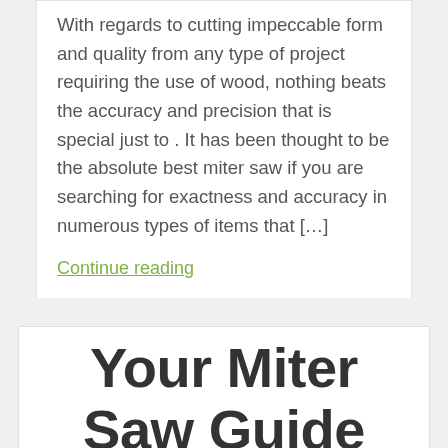With regards to cutting impeccable form and quality from any type of project requiring the use of wood, nothing beats the accuracy and precision that is special just to . It has been thought to be the absolute best miter saw if you are searching for exactness and accuracy in numerous types of items that […]
Continue reading
Product Reviews
Your Miter Saw Guide